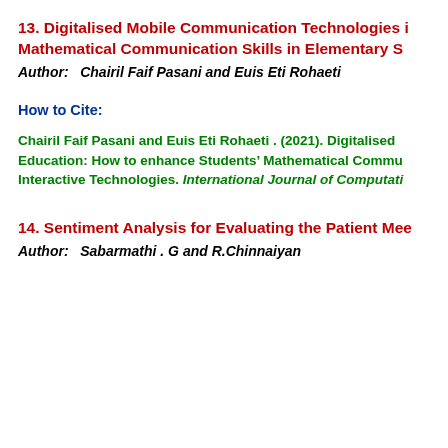13. Digitalised Mobile Communication Technologies in Mathematical Communication Skills in Elementary S
Author:   Chairil Faif Pasani and Euis Eti Rohaeti
How to Cite:
Chairil Faif Pasani and Euis Eti Rohaeti . (2021). Digitalised Education: How to enhance Students' Mathematical Commu Interactive Technologies. International Journal of Computati
14. Sentiment Analysis for Evaluating the Patient Mee
Author:   Sabarmathi . G and R.Chinnaiyan